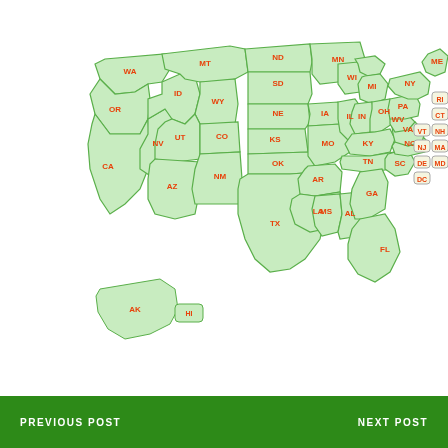[Figure (map): Interactive US map showing all 50 states plus DC with state abbreviation labels. States shown in light green with orange/red text labels. Small northeastern states shown in boxes on the right side.]
PREVIOUS POST   NEXT POST